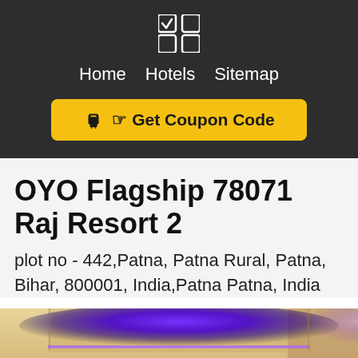Home   Hotels   Sitemap
Get Coupon Code
OYO Flagship 78071 Raj Resort 2
plot no - 442,Patna, Patna Rural, Patna, Bihar, 800001, India,Patna Patna, India
[Figure (photo): Interior photo of hotel room showing ceiling with purple/blue LED lighting strip and cream colored walls]